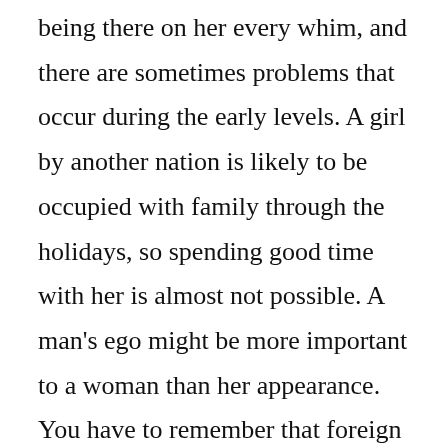being there on her every whim, and there are sometimes problems that occur during the early levels. A girl by another nation is likely to be occupied with family through the holidays, so spending good time with her is almost not possible. A man's ego might be more important to a woman than her appearance. You have to remember that foreign girls in many cases are more likely to contain less time available for you than a home-based partner.